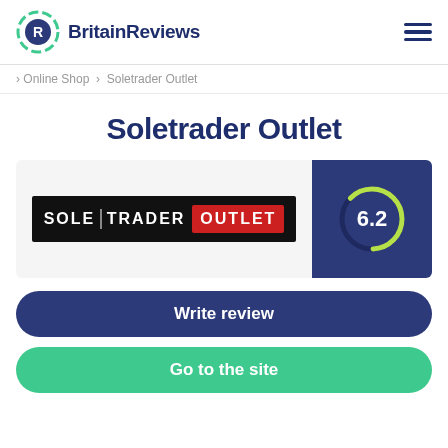BritainReviews
Online Shop › Soletrader Outlet
Soletrader Outlet
[Figure (logo): Soletrader Outlet brand logo with black background showing SOLE|TRADER in white text and OUTLET in red box, alongside a score badge showing 6.2 on dark blue background with green circular progress indicator]
Write review
Go to the site